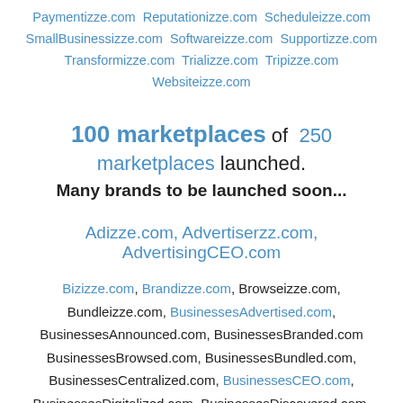Paymentizze.com Reputationizze.com Scheduleizze.com SmallBusinessizze.com Softwareizze.com Supportizze.com Transformizze.com Trializze.com Tripizze.com Websiteizze.com
100 marketplaces of 250 marketplaces launched. Many brands to be launched soon...
Adizze.com, Advertiserzz.com, AdvertisingCEO.com
Bizizze.com, Brandizze.com, Browseizze.com, Bundleizze.com, BusinessesAdvertised.com, BusinessesAnnounced.com, BusinessesBranded.com BusinessesBrowsed.com, BusinessesBundled.com, BusinessesCentralized.com, BusinessesCEO.com, BusinessesDigitalized.com, BusinessesDiscovered.com, BusinessesDisplayed.com, BusinessesExplored.com, BusinessesFeatured.com, BusinessesFollowed.com, BusinessesFound.com, BusinessesHighlighted.com